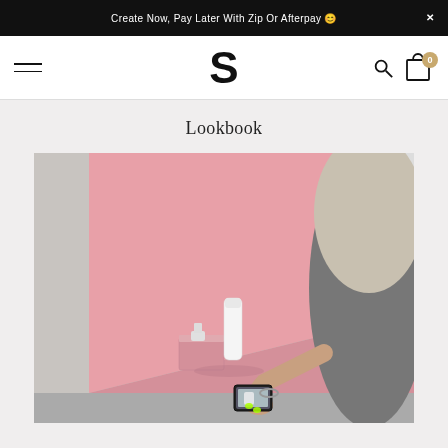Create Now, Pay Later With Zip Or Afterpay 😊
[Figure (logo): S logo for store brand in navigation bar]
Lookbook
[Figure (photo): Person photographing skincare products arranged on a pink backdrop with a smartphone. Products include a white tube and small bottle on pink risers. Person has light hair and green-painted nails with a bracelet.]